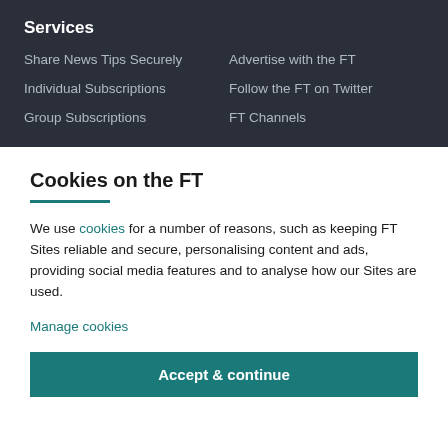Services
Share News Tips Securely
Advertise with the FT
Individual Subscriptions
Follow the FT on Twitter
Group Subscriptions
FT Channels
Cookies on the FT
We use cookies for a number of reasons, such as keeping FT Sites reliable and secure, personalising content and ads, providing social media features and to analyse how our Sites are used.
Manage cookies
Accept & continue